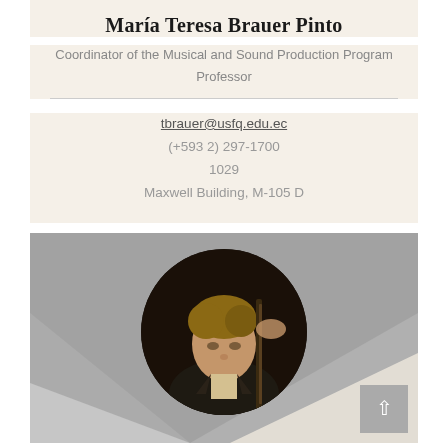María Teresa Brauer Pinto
Coordinator of the Musical and Sound Production Program
Professor
tbrauer@usfq.edu.ec
(+593 2) 297-1700
1029
Maxwell Building, M-105 D
[Figure (photo): Circular profile photo of a young man playing a double bass instrument, wearing a suit, with geometric gray and beige background shapes. A scroll-to-top arrow button is visible in the lower right corner.]